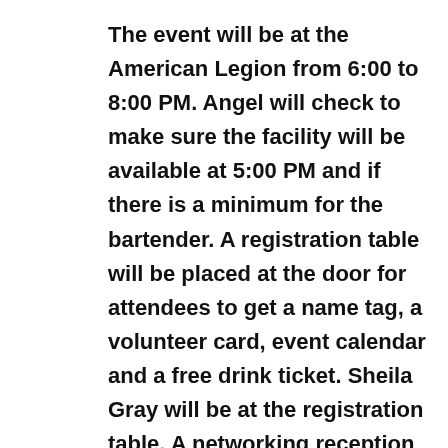The event will be at the American Legion from 6:00 to 8:00 PM. Angel will check to make sure the facility will be available at 5:00 PM and if there is a minimum for the bartender. A registration table will be placed at the door for attendees to get a name tag, a volunteer card, event calendar and a free drink ticket. Sheila Gray will be at the registration table. A networking reception will be from 6:00 to 6:30 PM then guests will be asked to take a seat. The food table will be in the middle of two rows of classroom style seating. The 2016 Board Members will be